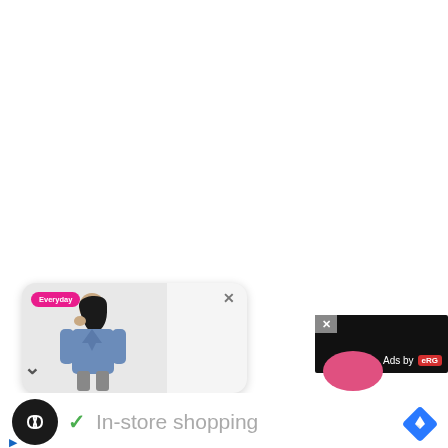[Figure (screenshot): White blank area taking up the top ~65% of the page]
[Figure (screenshot): Fashion advertisement popup showing a woman in a denim jacket with a pink brand label and close button, on a light gray rounded rectangle background]
[Figure (screenshot): Black advertisement bar with close X button and 'Ads by eRG' branding, with a pink circle partially visible at the bottom]
✓  In-store shopping